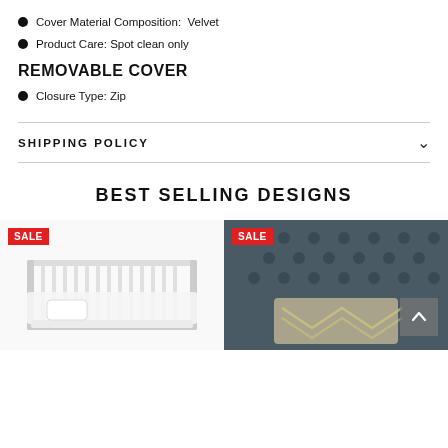Cover Material Composition:  Velvet
Product Care: Spot clean only
REMOVABLE COVER
Closure Type: Zip
SHIPPING POLICY
BEST SELLING DESIGNS
[Figure (photo): White baby crib with white bumper bedding, SALE badge top left]
[Figure (photo): Dark tufted headboard with decorative pillow, SALE badge top left, back-to-top button bottom right]